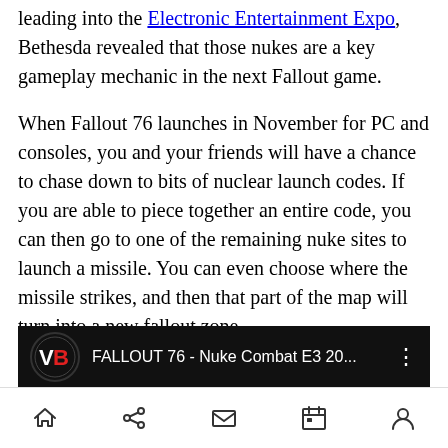leading into the Electronic Entertainment Expo, Bethesda revealed that those nukes are a key gameplay mechanic in the next Fallout game.
When Fallout 76 launches in November for PC and consoles, you and your friends will have a chance to chase down to bits of nuclear launch codes. If you are able to piece together an entire code, you can then go to one of the remaining nuke sites to launch a missile. You can even choose where the missile strikes, and then that part of the map will turn into a new fallout zone.
[Figure (screenshot): Video player bar showing VentureBeat logo and video title 'FALLOUT 76 - Nuke Combat E3 20...' on black background with options menu dots]
Navigation bar with home, share, mail, calendar, and profile icons